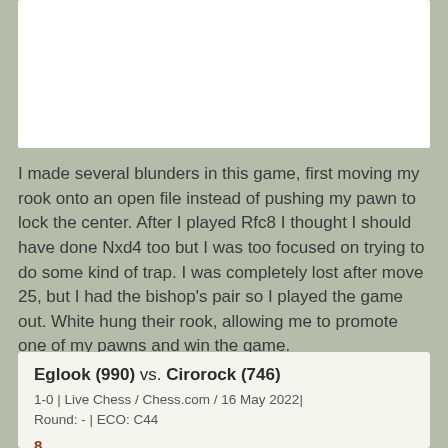[Figure (other): White rectangular area at the top of the page, likely a chess board or diagram region (blank/cropped).]
I made several blunders in this game, first moving my rook onto an open file instead of pushing my pawn to lock the center. After I played Rfc8 I thought I should have done Nxd4 too but I was too focused on trying to do some kind of trap. I was completely lost after move 25, but I had the bishop's pair so I played the game out. White hung their rook, allowing me to promote one of my pawns and win the game.
Eglook (990) vs. Cirorock (746)
1-0 | Live Chess / Chess.com / 16 May 2022| Round: - | ECO: C44
8